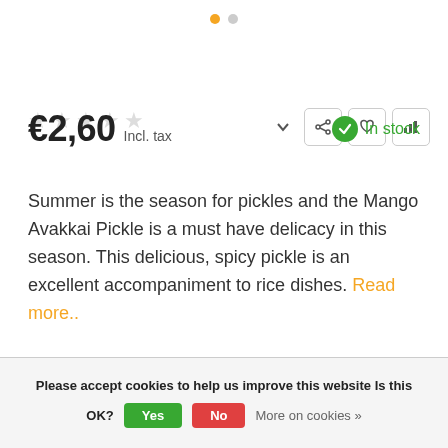[Figure (other): Carousel pagination dots: one orange (active) and one grey (inactive)]
[Figure (other): Five empty star rating icons, three icon buttons (share, heart, bar chart), and a dropdown chevron on the right side]
€2,60 Incl. tax
In stock
Summer is the season for pickles and the Mango Avakkai Pickle is a must have delicacy in this season. This delicious, spicy pickle is an excellent accompaniment to rice dishes. Read more..
Please accept cookies to help us improve this website Is this OK? Yes No More on cookies »